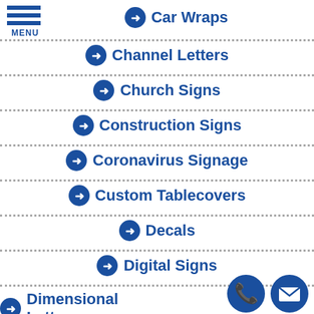[Figure (other): Hamburger menu icon with three horizontal blue bars and MENU label]
Car Wraps
Channel Letters
Church Signs
Construction Signs
Coronavirus Signage
Custom Tablecovers
Decals
Digital Signs
Dimensional Letters
[Figure (other): Phone and email contact icons (blue circles) at bottom right]